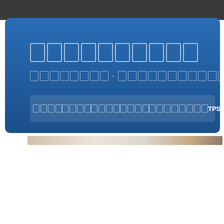[Figure (screenshot): Website header with dark top bar and blue gradient card containing placeholder character boxes for title and subtitle text, with a navigation bar at the bottom containing menu items including TPS-related link]
[Figure (photo): Partial photo strip visible at the bottom of the blue card area, showing a light-colored background with a small reddish object on the right side]